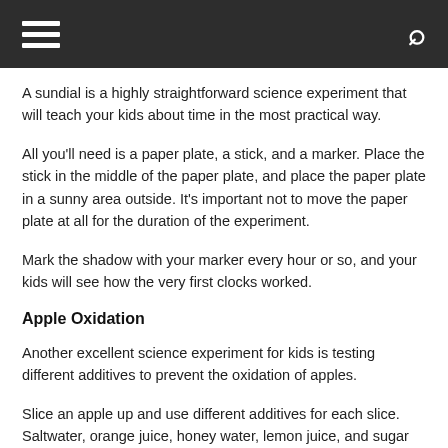[hamburger menu] [search icon]
A sundial is a highly straightforward science experiment that will teach your kids about time in the most practical way.
All you'll need is a paper plate, a stick, and a marker. Place the stick in the middle of the paper plate, and place the paper plate in a sunny area outside. It's important not to move the paper plate at all for the duration of the experiment.
Mark the shadow with your marker every hour or so, and your kids will see how the very first clocks worked.
Apple Oxidation
Another excellent science experiment for kids is testing different additives to prevent the oxidation of apples.
Slice an apple up and use different additives for each slice. Saltwater, orange juice, honey water, lemon juice, and sugar water are excellent options. Mark which additive is used for each piece